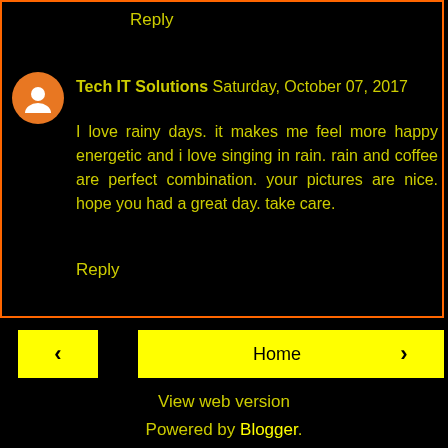Reply
Tech IT Solutions  Saturday, October 07, 2017
I love rainy days. it makes me feel more happy energetic and i love singing in rain. rain and coffee are perfect combination. your pictures are nice. hope you had a great day. take care.
Reply
Home
View web version
Powered by Blogger.